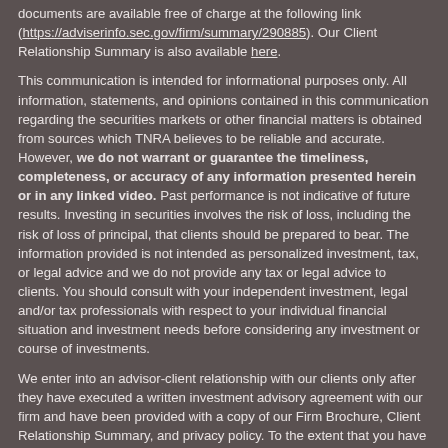documents are available free of charge at the following link (https://adviserinfo.sec.gov/firm/summary/290885). Our Client Relationship Summary is also available here.
This communication is intended for informational purposes only. All information, statements, and opinions contained in this communication regarding the securities markets or other financial matters is obtained from sources which TNRA believes to be reliable and accurate. However, we do not warrant or guarantee the timeliness, completeness, or accuracy of any information presented herein or in any linked video. Past performance is not indicative of future results. Investing in securities involves the risk of loss, including the risk of loss of principal, that clients should be prepared to bear. The information provided is not intended as personalized investment, tax, or legal advice and we do not provide any tax or legal advice to clients. You should consult with your independent investment, legal and/or tax professionals with respect to your individual financial situation and investment needs before considering any investment or course of investments.
We enter into an advisor-client relationship with our clients only after they have executed a written investment advisory agreement with our firm and have been provided with a copy of our Firm Brochure, Client Relationship Summary, and privacy policy. To the extent that you have any questions regarding the applicability of any specific issues discussed relating to your individual situation, you are encouraged to